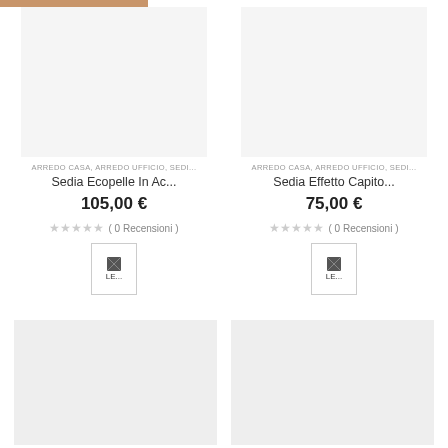ARREDO CASA, ARREDO UFFICIO, SEDI...
Sedia Ecopelle In Ac...
105,00 €
( 0 Recensioni )
ARREDO CASA, ARREDO UFFICIO, SEDI...
Sedia Effetto Capito...
75,00 €
( 0 Recensioni )